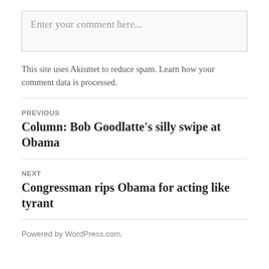Enter your comment here...
This site uses Akismet to reduce spam. Learn how your comment data is processed.
PREVIOUS
Column: Bob Goodlatte's silly swipe at Obama
NEXT
Congressman rips Obama for acting like tyrant
Powered by WordPress.com.